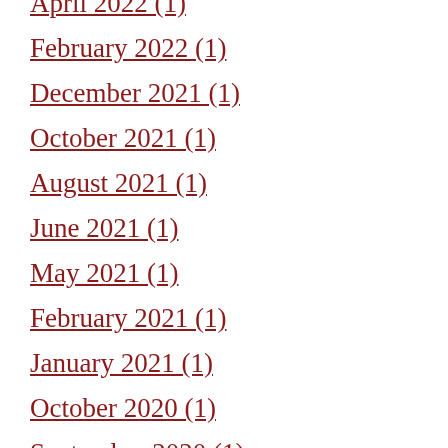April 2022 (1)
February 2022 (1)
December 2021 (1)
October 2021 (1)
August 2021 (1)
June 2021 (1)
May 2021 (1)
February 2021 (1)
January 2021 (1)
October 2020 (1)
September 2020 (1)
July 2020 (1)